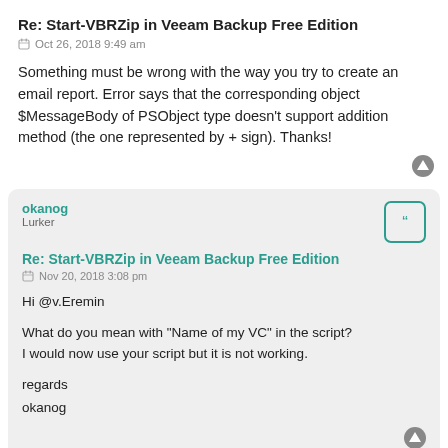Re: Start-VBRZip in Veeam Backup Free Edition
Oct 26, 2018 9:49 am
Something must be wrong with the way you try to create an email report. Error says that the corresponding object $MessageBody of PSObject type doesn't support addition method (the one represented by + sign). Thanks!
okanog
Lurker
Re: Start-VBRZip in Veeam Backup Free Edition
Nov 20, 2018 3:08 pm
Hi @v.Eremin

What do you mean with "Name of my VC" in the script?
I would now use your script but it is not working.

regards
okanog